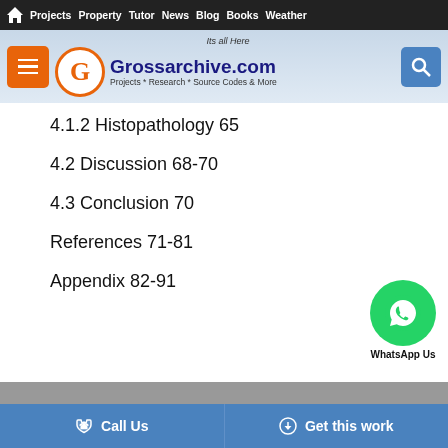Projects  Property  Tutor  News  Blog  Books  Weather
[Figure (logo): Grossarchive.com logo with orange G circle, tagline 'Its all Here', subtitle 'Projects * Research * Source Codes & More']
4.1.2 Histopathology 65
4.2 Discussion 68-70
4.3 Conclusion 70
References 71-81
Appendix 82-91
Call Us    Get this work